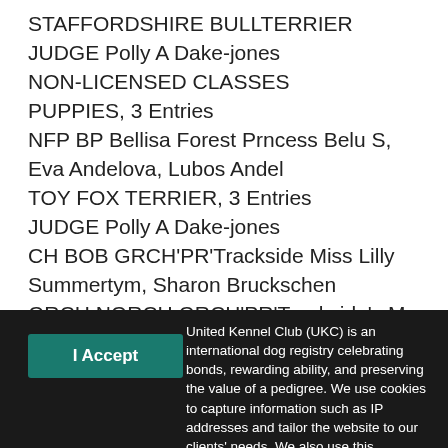STAFFORDSHIRE BULLTERRIER
JUDGE Polly A Dake-jones
NON-LICENSED CLASSES
PUPPIES, 3 Entries
NFP BP Bellisa Forest Prncess Belu S, Eva Andelova, Lubos Andel
TOY FOX TERRIER, 3 Entries
JUDGE Polly A Dake-jones
CH BOB GRCH'PR'Trackside Miss Lilly Summertym, Sharon Bruckschen
GRCH NGRCH GRCH'PR'Trackside's My Rowdy Spirit,
United Kennel Club (UKC) is an international dog registry celebrating bonds, rewarding ability, and preserving the value of a pedigree. We use cookies to capture information such as IP addresses and tailor the website to our clients' needs. We also use this information to target and measure promotional material. Please see our Privacy Policy for more information.